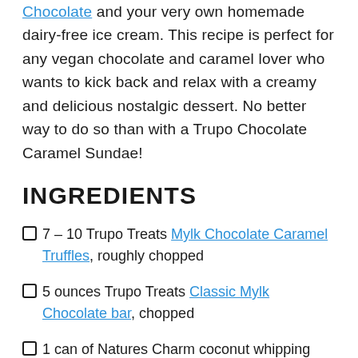Chocolate and your very own homemade dairy-free ice cream. This recipe is perfect for any vegan chocolate and caramel lover who wants to kick back and relax with a creamy and delicious nostalgic dessert. No better way to do so than with a Trupo Chocolate Caramel Sundae!
INGREDIENTS
7 – 10 Trupo Treats Mylk Chocolate Caramel Truffles, roughly chopped
5 ounces Trupo Treats Classic Mylk Chocolate bar, chopped
1 can of Natures Charm coconut whipping